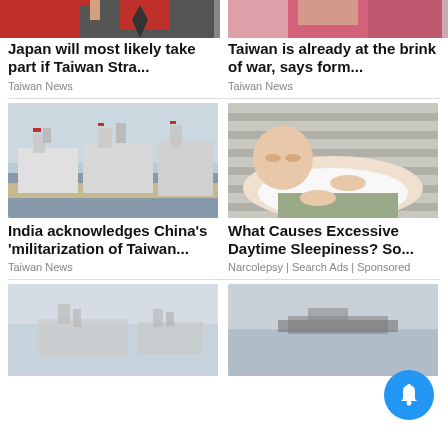[Figure (photo): Partial photo of a person in red and black, top left]
[Figure (photo): Partial photo of a person in pink/red uniform, top right]
Japan will most likely take part if Taiwan Stra...
Taiwan is already at the brink of war, says form...
Taiwan News
Taiwan News
[Figure (photo): Chinese navy warships docked at port]
[Figure (photo): Person lying on a couch appearing sleepy/tired]
India acknowledges China's 'militarization of Taiwan...
What Causes Excessive Daytime Sleepiness? So...
Taiwan News
Narcolepsy | Search Ads | Sponsored
[Figure (photo): Navy warships at sea, misty/grey]
[Figure (photo): Large cargo/naval ship on calm grey water with notification bell overlay]